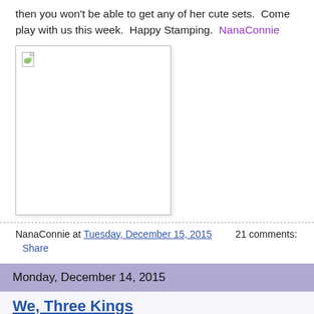then you won't be able to get any of her cute sets.  Come play with us this week.  Happy Stamping.  NanaConnie
[Figure (photo): Broken/missing image placeholder with a small document icon in upper left corner, white background with grey border]
NanaConnie at Tuesday, December 15, 2015    21 comments:
Share
Monday, December 14, 2015
We, Three Kings